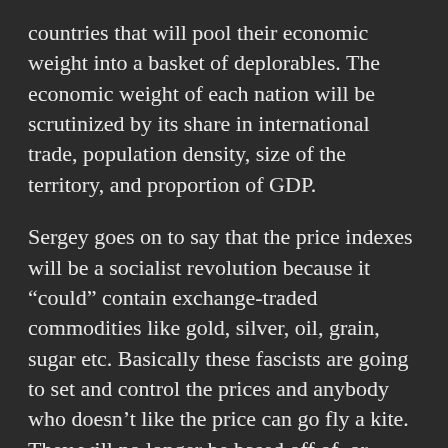countries that will pool their economic weight into a basket of deplorables. The economic weight of each nation will be scrutinized by its share in international trade, population density, size of the territory, and proportion of GDP.
Sergey goes on to say that the price indexes will be a socialist revolution because it “could” contain exchange-traded commodities like gold, silver, oil, grain, sugar etc. Basically these fascists are going to set and control the prices and anybody who doesn’t like the price can go fly a kite. They will no longer be based off of, or comparable to, the value that the market naturally sets, which is based off of the health of the industry. Supply and Demand will be thrown out the window with the baby and the bath water, along with any type of pin to a real store of value, like gold, or any other